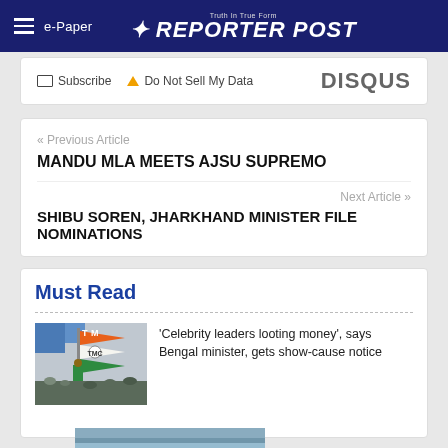e-Paper  REPORTER POST
Subscribe  Do Not Sell My Data  DISQUS
« Previous Article
MANDU MLA MEETS AJSU SUPREMO
Next Article »
SHIBU SOREN, JHARKHAND MINISTER FILE NOMINATIONS
Must Read
[Figure (photo): TMC flag being waved at a rally with people in background]
'Celebrity leaders looting money', says Bengal minister, gets show-cause notice
[Figure (photo): Partial bottom image, appears to be a flooded or outdoor scene]